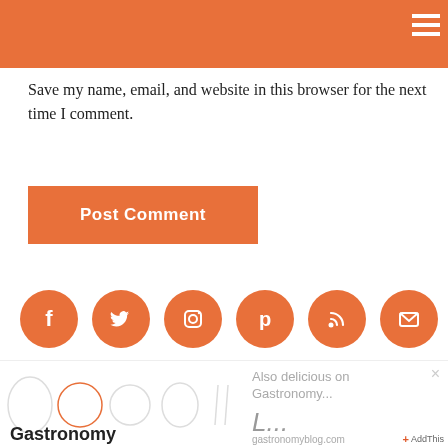Save my name, email, and website in this browser for the next time I comment.
[Figure (other): Orange 'Post Comment' button]
[Figure (other): Row of 6 orange circular social media icons: Facebook, Twitter, Instagram, Pinterest, RSS, Email]
[Figure (infographic): Gastronomy blog widget showing food illustrations, 'Also delicious on Gastronomy...' text, 'L...' preview, gastronomyblog.com URL, AddThis button, and Gastronomy logo]